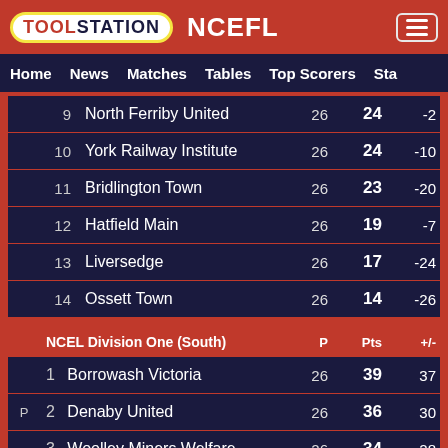TOOLSTATION NCEFL
Home  News  Matches  Tables  Top Scorers  Sta
|  | Pos | Club | P | Pts | +/- |
| --- | --- | --- | --- | --- | --- |
|  | 9 | North Ferriby United | 26 | 24 | -2 |
|  | 10 | York Railway Institute | 26 | 24 | -10 |
|  | 11 | Bridlington Town | 26 | 23 | -20 |
|  | 12 | Hatfield Main | 26 | 19 | -7 |
|  | 13 | Liversedge | 26 | 17 | -24 |
|  | 14 | Ossett Town | 26 | 14 | -26 |
|  | NCEL Division One (South) | P | Pts | +/- |
| --- | --- | --- | --- | --- |
|  | 1  Borrowash Victoria | 26 | 39 | 37 |
| P | 2  Denaby United | 26 | 36 | 30 |
|  | 3  Woolley Miners Welfare | 26 | 34 | 28 |